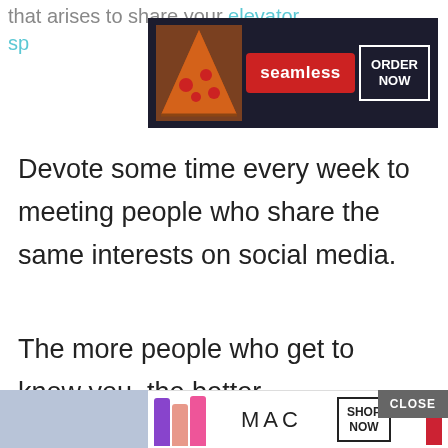that arises to share your elevator sp...
[Figure (photo): Seamless food delivery advertisement banner with pizza image, red Seamless logo button, and ORDER NOW button on dark background]
Devote some time every week to meeting people who share the same interests on social media.
The more people who get to know you, the better.
Business Mindset
[Figure (photo): MAC cosmetics advertisement with lipsticks and SHOP NOW button]